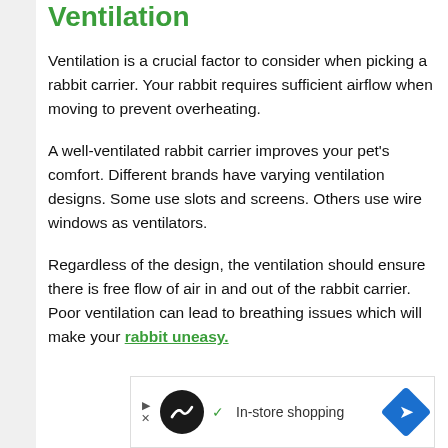Ventilation
Ventilation is a crucial factor to consider when picking a rabbit carrier. Your rabbit requires sufficient airflow when moving to prevent overheating.
A well-ventilated rabbit carrier improves your pet's comfort. Different brands have varying ventilation designs. Some use slots and screens. Others use wire windows as ventilators.
Regardless of the design, the ventilation should ensure there is free flow of air in and out of the rabbit carrier. Poor ventilation can lead to breathing issues which will make your rabbit uneasy.
[Figure (other): Advertisement banner with logo, checkmark, 'In-store shopping' text, and a blue arrow icon]